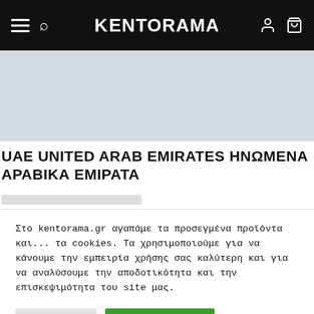KENTORAMA
[Figure (other): Light grey hero/banner image area]
UAE UNITED ARAB EMIRATES ΗΝΩΜΕΝΑ ΑΡΑΒΙΚΑ ΕΜΙΡΑΤΑ
Στο kentorama.gr αγαπάμε τα προσεγμένα προϊόντα και... τα cookies. Τα χρησιμοποιούμε για να κάνουμε την εμπειρία χρήσης σας καλύτερη και για να αναλύσουμε την αποδοτικότητα και την επισκεψιμότητα του site μας.
Ρυθμίσεις
Αποδοχή όλων